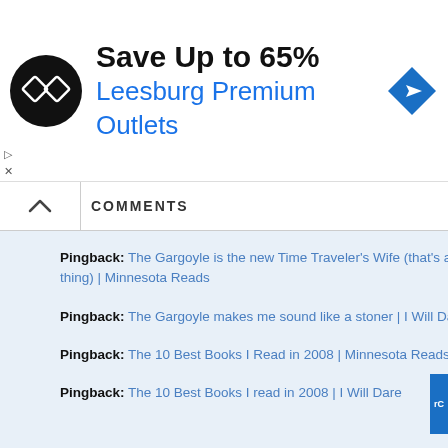[Figure (screenshot): Ad banner for Leesburg Premium Outlets showing logo, 'Save Up to 65%' headline, outlet name in blue, and a navigation/directions icon.]
COMMENTS
Pingback: The Gargoyle is the new Time Traveler's Wife (that's a good thing) | Minnesota Reads
Pingback: The Gargoyle makes me sound like a stoner | I Will Dare
Pingback: The 10 Best Books I Read in 2008 | Minnesota Reads
Pingback: The 10 Best Books I read in 2008 | I Will Dare
LEAVE A COMMENT